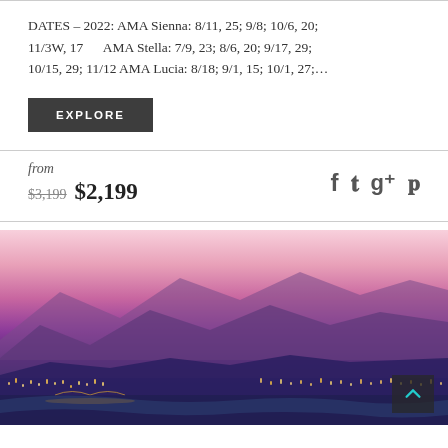DATES – 2022: AMA Sienna: 8/11, 25; 9/8; 10/6, 20; 11/3W, 17     AMA Stella: 7/9, 23; 8/6, 20; 9/17, 29; 10/15, 29; 11/12 AMA Lucia: 8/18; 9/1, 15; 10/1, 27;…
EXPLORE
from $3,199 $2,199
[Figure (photo): Aerial panoramic view of a city at dusk/night with a river running through it, bridges visible, purple and pink sky with mountains in the background, city lights illuminated]